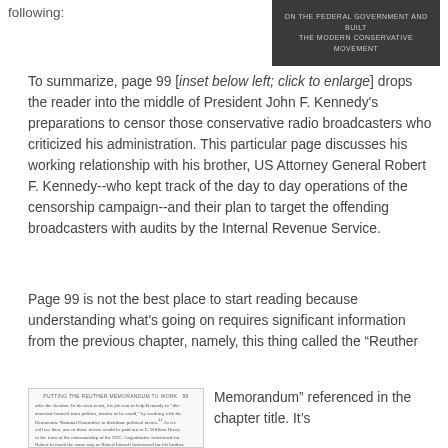following:
[Figure (photo): Dark book cover with light grey text reading 'ON THE FEDERAL GOVERNMENT AND BUILT THE MODERN CONSERVATIVE MOVEMENT']
To summarize, page 99 [inset below left; click to enlarge] drops the reader into the middle of President John F. Kennedy's preparations to censor those conservative radio broadcasters who criticized his administration. This particular page discusses his working relationship with his brother, US Attorney General Robert F. Kennedy--who kept track of the day to day operations of the censorship campaign--and their plan to target the offending broadcasters with audits by the Internal Revenue Service.
Page 99 is not the best place to start reading because understanding what's going on requires significant information from the previous chapter, namely, this thing called the “Reuther Memorandum” referenced in the chapter title. It’s
[Figure (screenshot): Inset image of a book page showing text about putting the Reuther Memorandum to work, page 99]
Memorandum” referenced in the chapter title. It’s